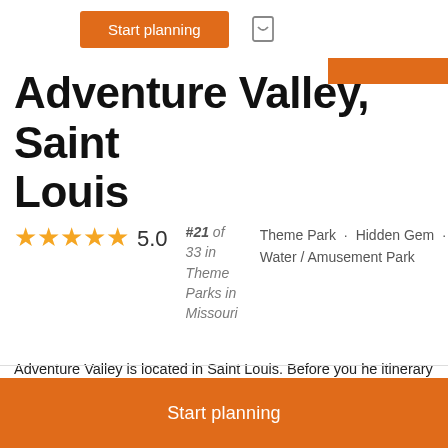[Figure (screenshot): Orange 'Start planning' button with a bookmark/heart icon to its right in a top navigation bar]
Adventure Valley, Saint Louis
#21 of 33 in Theme Parks in Missouri · Theme Park · Hidden Gem · Water / Amusement Park · Rating: 5.0 stars
Adventure Valley is located in Saint Louis. Before you he itinerary details with our user-friendly Saint Louis online you see all that Saint Louis has to offer, including Adver
[Figure (screenshot): Orange 'Start planning' button at the bottom of the page]
Start planning